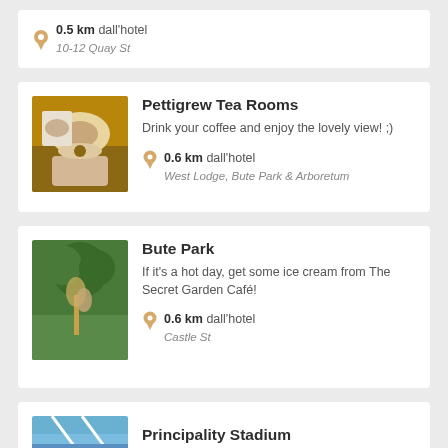0.5 km dall'hotel / 10-12 Quay St
Pettigrew Tea Rooms
Drink your coffee and enjoy the lovely view! ;)
0.6 km dall'hotel / West Lodge, Bute Park & Arboretum
Bute Park
If it's a hot day, get some ice cream from The Secret Garden Café!
0.6 km dall'hotel / Castle St
Principality Stadium